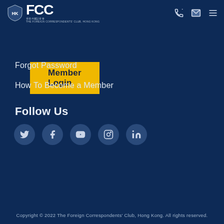[Figure (logo): FCC Foreign Correspondents' Club Hong Kong logo with shield emblem and FCC text]
Member Login
Forgot Password
How To Become a Member
Follow Us
[Figure (infographic): Social media icons row: Twitter, Facebook, YouTube, Instagram, LinkedIn]
Copyright © 2022 The Foreign Correspondents' Club, Hong Kong. All rights reserved.